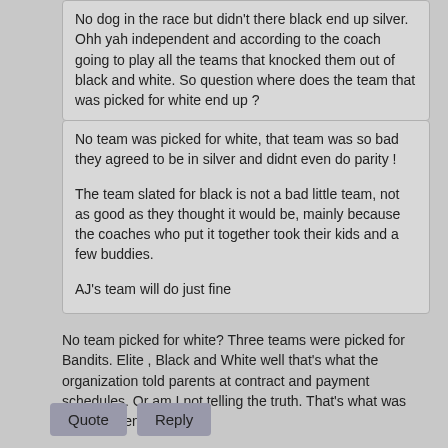No dog in the race but didn't there black end up silver. Ohh yah independent and according to the coach going to play all the teams that knocked them out of black and white. So question where does the team that was picked for white end up ?
No team was picked for white, that team was so bad they agreed to be in silver and didnt even do parity !

The team slated for black is not a bad little team, not as good as they thought it would be, mainly because the coaches who put it together took their kids and a few buddies.

AJ's team will do just fine
No team picked for white? Three teams were picked for Bandits. Elite , Black and White well that's what the organization told parents at contract and payment schedules. Or am I not telling the truth. That's what was told to parents
Quote
Reply